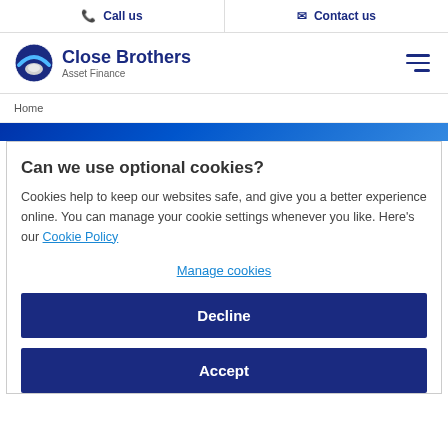📞 Call us  ✉ Contact us
[Figure (logo): Close Brothers Asset Finance logo — circular icon with mountain and blue arc, bold navy text 'Close Brothers' with 'Asset Finance' subtitle]
Home
[Figure (photo): Blue abstract background banner]
Can we use optional cookies?
Cookies help to keep our websites safe, and give you a better experience online. You can manage your cookie settings whenever you like. Here's our Cookie Policy
Manage cookies
Decline
Accept